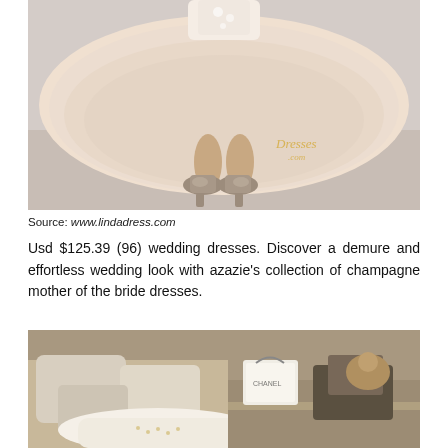[Figure (photo): Lower half of a person wearing a champagne/blush tulle wedding dress with lace bodice details, paired with nude peep-toe heels. A watermark reading 'Dresses .com' is visible. Light gray background.]
Source: www.lindadress.com
Usd $125.39 (96) wedding dresses. Discover a demure and effortless wedding look with azazie's collection of champagne mother of the bride dresses.
[Figure (photo): Interior room scene with cream/beige pillows on a couch or bed, a white wedding dress laid out, and various bags and items on a table to the right, including what appears to be a Chanel bag.]